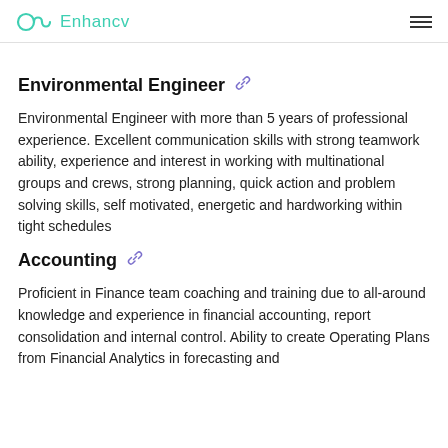Enhancv
Environmental Engineer
Environmental Engineer with more than 5 years of professional experience. Excellent communication skills with strong teamwork ability, experience and interest in working with multinational groups and crews, strong planning, quick action and problem solving skills, self motivated, energetic and hardworking within tight schedules
Accounting
Proficient in Finance team coaching and training due to all-around knowledge and experience in financial accounting, report consolidation and internal control. Ability to create Operating Plans from Financial Analytics in forecasting and